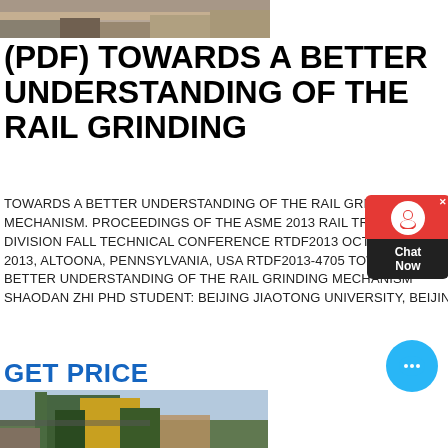[Figure (photo): Top portion of a quarry or rock crushing site, showing rocks and industrial equipment]
(PDF) TOWARDS A BETTER UNDERSTANDING OF THE RAIL GRINDING
TOWARDS A BETTER UNDERSTANDING OF THE RAIL GRINDING MECHANISM. PROCEEDINGS OF THE ASME 2013 RAIL TRANSPORTATION DIVISION FALL TECHNICAL CONFERENCE RTDF2013 OCTOBER 15-17, 2013, ALTOONA, PENNSYLVANIA, USA RTDF2013-4705 TOWARDS A BETTER UNDERSTANDING OF THE RAIL GRINDING MECHANISM SHAODAN ZHI PHD STUDENT: BEIJING JIAOTONG UNIVERSITY, BEIJING
GET PRICE
[Figure (photo): Industrial machinery at a quarry or mining site — green and yellow crushing/conveying equipment against a sky background]